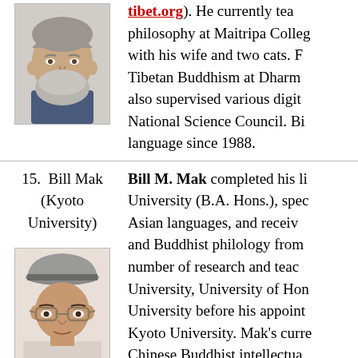[Figure (photo): Headshot of older man with grey beard and blue shirt]
tibet.org). He currently teaches philosophy at Maitripa College, with his wife and two cats. He taught Tibetan Buddhism at Dharma... also supervised various digital... National Science Council. Bi... language since 1988.
15. Bill Mak (Kyoto University)
[Figure (photo): Headshot of younger Asian man wearing a grey hat and glasses]
Bill M. Mak completed his li... University (B.A. Hons.), spe... Asian languages, and receiv... and Buddhist philology from... number of research and tea... University, University of Hon... University before his appoint... Kyoto University. Mak's curre... Chinese Buddhist intellectua...